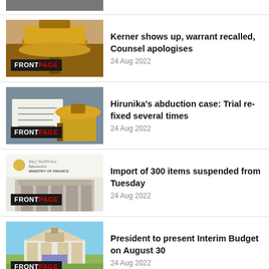[Figure (photo): Partial view of a person at top of page]
[Figure (photo): Court gavel on wooden surface with FRONTPAGE badge]
Kerner shows up, warrant recalled, Counsel apologises
24 Aug 2022
[Figure (photo): Person signing document next to gavel with FRONTPAGE badge]
Hirunika's abduction case: Trial re-fixed several times
24 Aug 2022
[Figure (photo): Ministry of Finance building with FRONTPAGE badge]
Import of 300 items suspended from Tuesday
24 Aug 2022
[Figure (photo): Sri Lanka Parliament building with FRONTPAGE badge]
President to present Interim Budget on August 30
24 Aug 2022